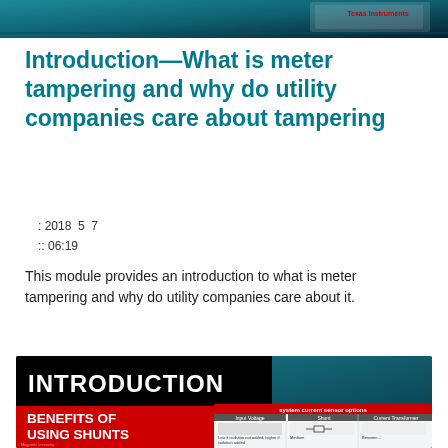[Figure (screenshot): Top banner image showing a teal/dark teal presentation slide with Texas Instruments logo in the top right corner]
Introduction—What is meter tampering and why do utility companies care about tampering
: 2018  5  7
:: 06:19
This module provides an introduction to what is meter tampering and why do utility companies care about it.
[Figure (screenshot): Bottom image showing a presentation slide with 'INTRODUCTION' text in white on black background, 'BENEFITS OF USING SHUNTS' in white on red background, and a partially visible slide about system current sensor options showing shunt and current transformer comparison]